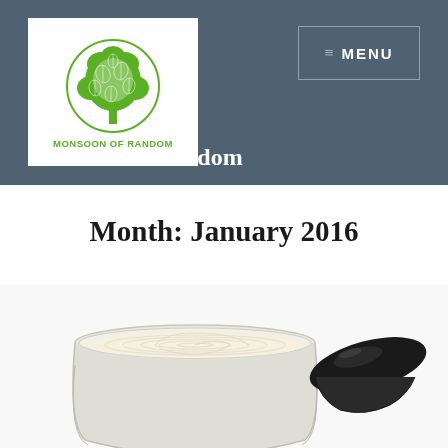[Figure (logo): Monsoon of Random blog logo: green tree illustration in a circle with text MONSOON OF RANDOM below]
Monsoon of Random
Month: January 2016
[Figure (photo): An open glass jar of white/cream cosmetic product with a black lid propped next to it, on a white background]